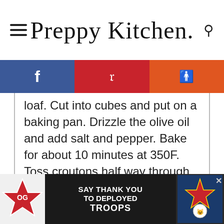Preppy Kitchen
[Figure (infographic): Social sharing bar with Facebook (blue), Pinterest (red), Reddit (orange) icons]
loaf. Cut into cubes and put on a baking pan. Drizzle the olive oil and add salt and pepper. Bake for about 10 minutes at 350F. Toss croutons half way through baking.
2. Chop up red onion. Put into a bowl with the white wine vinegar to marinate.
3. Cut cucumbers in half and deseed
[Figure (infographic): Advertisement banner: Operation Gratitude - SAY THANK YOU TO DEPLOYED TROOPS]